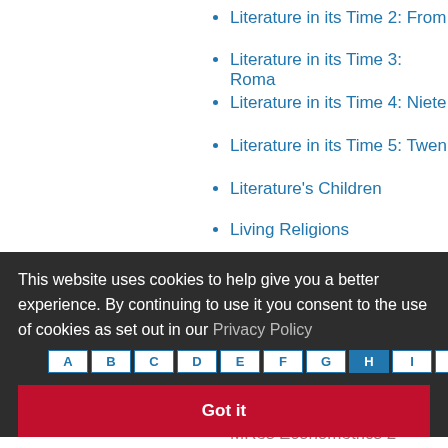Literature in its Time 2: From
Literature in its Time 3: Roma
Literature in its Time 4: Ninet
Literature in its Time 5: Twen
Literature's Children
Living Religions
Living Religions
Local Authority and School S
Logic
Logic 2
This website uses cookies to help give you a better experience. By continuing to use it you consent to the use of cookies as set out in our Privacy Policy
MRes Econometrics 1
MRes Econometrics 2
MRes Macroeconomics 1
MRes Macroeconomics 2